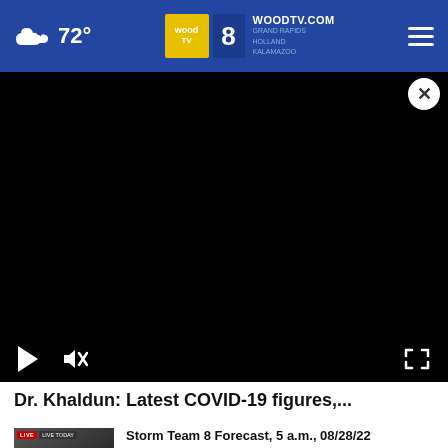72° WOODTV.COM GRAND RAPIDS HOLLAND KALAMAZOO
[Figure (screenshot): Black video player area with play button, mute button, and fullscreen button controls at bottom]
Dr. Khaldun: Latest COVID-19 figures,...
[Figure (screenshot): Thumbnail for Storm Team 8 Forecast video showing a news anchor with LIVE TODAY badge]
Storm Team 8 Forecast, 5 a.m., 08/28/22